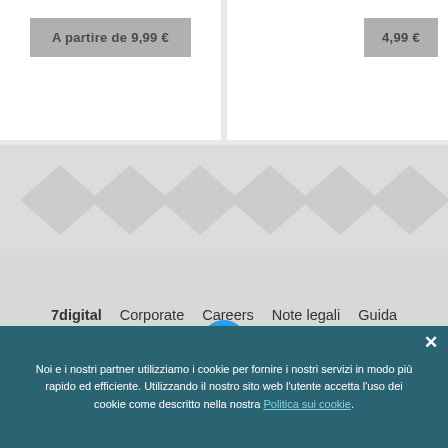A partire de 9,99 €
4,99 €
7digital   Corporate   Careers   Note legali   Guida
[Figure (logo): Twitter bird icon in a blue circle]
Torna a inizio pagina
Noi e i nostri partner utilizziamo i cookie per fornire i nostri servizi in modo più rapido ed efficiente. Utilizzando il nostro sito web l'utente accetta l'uso dei cookie come descritto nella nostra Politica sui cookie.